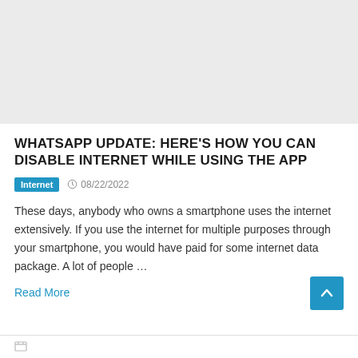[Figure (other): Gray placeholder image area at top of page]
WHATSAPP UPDATE: HERE'S HOW YOU CAN DISABLE INTERNET WHILE USING THE APP
Internet  08/22/2022
These days, anybody who owns a smartphone uses the internet extensively. If you use the internet for multiple purposes through your smartphone, you would have paid for some internet data package. A lot of people …
Read More